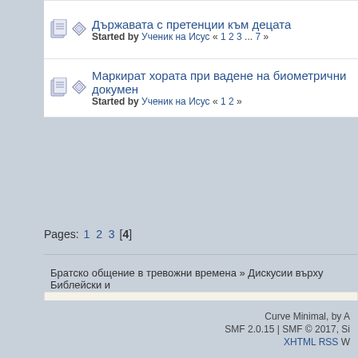Държавата с претенции към децата
Started by Ученик на Исус « 1 2 3 ... 7 »
Маркират хората при вадене на биометрични документи
Started by Ученик на Исус « 1 2 »
Pages: 1 2 3 [4]
Братско общение в тревожни времена » Дискусии върху Библейски и
Normal Topic
Hot Topic (More than 15 replies)
Very Hot Topic (More than 25 replies)
Locked Topic
Sticky Topic
Curve Minimal, by A
SMF 2.0.15 | SMF © 2017, Si
XHTML RSS W